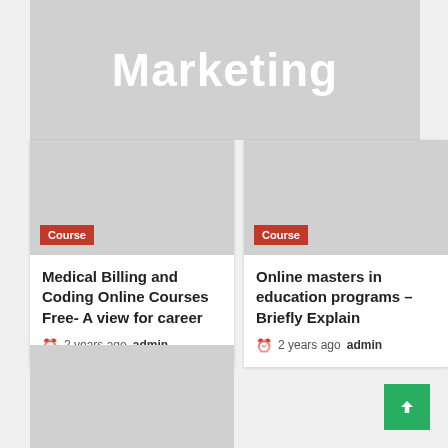[Figure (photo): Gray placeholder image with 'Marketing' text in white bold font centered on image]
[Figure (photo): Gray placeholder image for course card 1 with red 'Course' badge]
Medical Billing and Coding Online Courses Free- A view for career
2 years ago admin
[Figure (photo): Gray placeholder image for course card 2 with red 'Course' badge]
Online masters in education programs – Briefly Explain
2 years ago admin
[Figure (photo): Gray placeholder image for third course card (partially visible at bottom)]